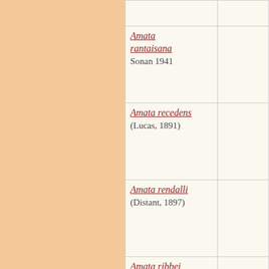| Species | Image |
| --- | --- |
| Amata rantaisana
Sonan 1941 |  |
| Amata recedens
(Lucas, 1891) |  |
| Amata rendalli
(Distant, 1897) |  |
| Amata ribbei
(Röber, 1885) |  |
| Amata robinsoni
Rothschild |  |